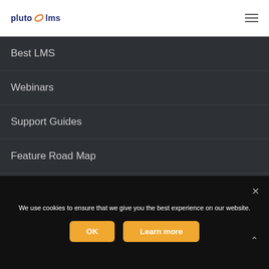pluto lms
Best LMS
Webinars
Support Guides
Feature Road Map
Legal
Careers
We use cookies to ensure that we give you the best experience on our website.